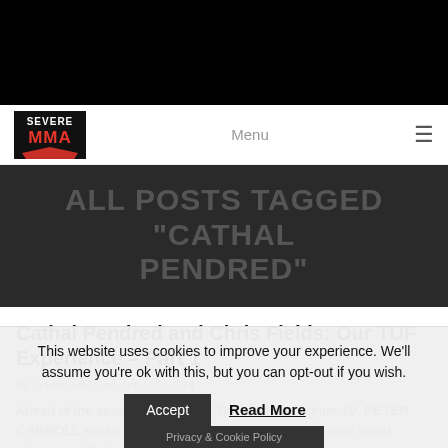[Figure (logo): Severe MMA logo in top navigation bar]
Menu
ALL POSTS TAGGED "CATHAL PENDRED"
Cathal Pendred and Chris Fields: Our TUF Experience – Part 1
By Severe MMA on April 15, 2014
Ahead of the season premiere of The Ultimate Fighter 19, PETER CARROLL spoke to Irish hopefuls, former Cage Warriors world champions Cathal Pendred and Chris...
This website uses cookies to improve your experience. We'll assume you're ok with this, but you can opt-out if you wish.